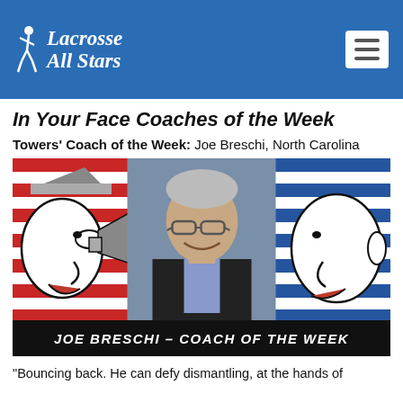Lacrosse All Stars
In Your Face Coaches of the Week
Towers' Coach of the Week: Joe Breschi, North Carolina
[Figure (photo): Composite image: Joe Breschi headshot centered over a red-and-blue striped background with two cartoon faces (one left with megaphone, one right) facing inward. Black banner at bottom reads 'JOE BRESCHI – COACH OF THE WEEK'.]
"Bouncing back. He can defy dismantling, at the hands of